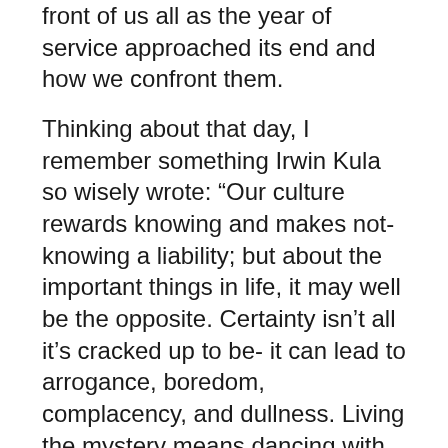front of us all as the year of service approached its end and how we confront them.
Thinking about that day, I remember something Irwin Kula so wisely wrote: “Our culture rewards knowing and makes not-knowing a liability; but about the important things in life, it may well be the opposite. Certainty isn’t all it’s cracked up to be- it can lead to arrogance, boredom, complacency, and dullness. Living the mystery means dancing with certainty and uncertainty, knowing and not-knowing” (Yearnings: Embracing the Sacred Messiness of Life, 2006). I would like to add a social justice perspective to that idea. Sometimes the questions that